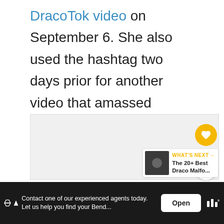DracoTok video on September 6. She also used the hashtag two days prior for another video that amassed hundreds of thousands of views.
[Figure (screenshot): Embedded video or media content area (gray placeholder), with floating heart/like button (yellow, count 14) and share button, plus a 'What's Next' overlay showing 'The 20+ Best Draco Malfo...' with thumbnail]
[Figure (infographic): Advertisement bar at bottom: 'Contact one of our experienced agents today. Let us help you find your Bend...' with Open button and app logo (bar chart icon with degree symbol)]